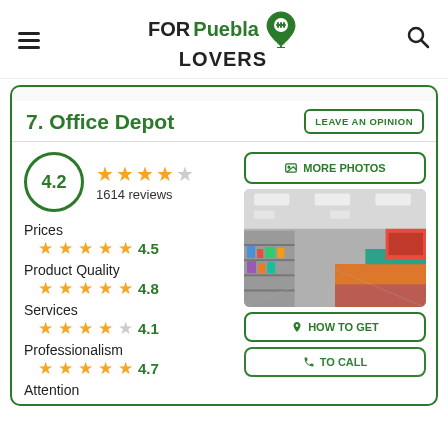FOR Puebla LOVERS
7. Office Depot
LEAVE AN OPINION
4.2 — 1614 reviews
Prices 4.5
Product Quality 4.8
Services 4.1
Professionalism 4.7
Attention
MORE PHOTOS
[Figure (photo): Interior photo of Office Depot store showing shelves and products]
HOW TO GET